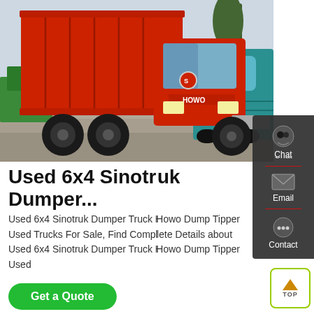[Figure (photo): Red Sinotruk HOWO 6x4 dump tipper truck parked in a lot, with a cyan/teal truck visible in the background on the right. Trees visible in upper right. Outdoor scene, overcast sky.]
Used 6x4 Sinotruk Dumper...
Used 6x4 Sinotruk Dumper Truck Howo Dump Tipper Used Trucks For Sale, Find Complete Details about Used 6x4 Sinotruk Dumper Truck Howo Dump Tipper Used
Get a Quote